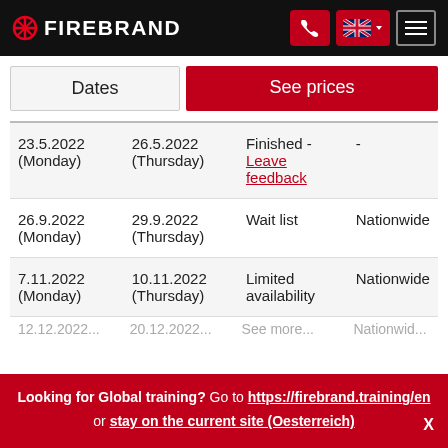FIREBRAND
| Start | End | Status | Location |
| --- | --- | --- | --- |
| 23.5.2022 (Monday) | 26.5.2022 (Thursday) | Finished - Leave feedback | - |
| 26.9.2022 (Monday) | 29.9.2022 (Thursday) | Wait list | Nationwide |
| 7.11.2022 (Monday) | 10.11.2022 (Thursday) | Limited availability | Nationwide |
Looking for Global training? Go to https://firebrand.training/en or stay on the current site (Oesterreich)